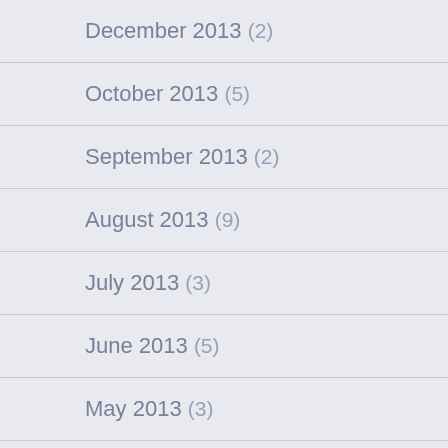December 2013 (2)
October 2013 (5)
September 2013 (2)
August 2013 (9)
July 2013 (3)
June 2013 (5)
May 2013 (3)
April 2013 (2)
March 2013 (13)
February 2013 (12)